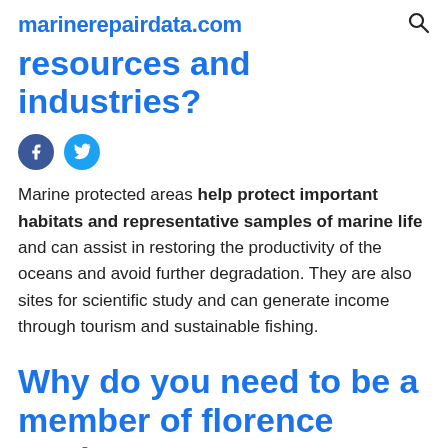marinerepairdata.com
resources and industries?
[Figure (other): Facebook and Twitter social share icon buttons]
Marine protected areas help protect important habitats and representative samples of marine life and can assist in restoring the productivity of the oceans and avoid further degradation. They are also sites for scientific study and can generate income through tourism and sustainable fishing.
Why do you need to be a member of florence marine x?